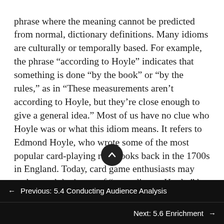phrase where the meaning cannot be predicted from normal, dictionary definitions. Many idioms are culturally or temporally based. For example, the phrase “according to Hoyle” indicates that something is done “by the book” or “by the rules,” as in “These measurements aren’t according to Hoyle, but they’re close enough to give a general idea.” Most of us have no clue who Hoyle was or what this idiom means. It refers to Edmond Hoyle, who wrote some of the most popular card-playing rule books back in the 1700s in England. Today, card game enthusiasts may understand the intent of “according to Hoyle,” but for most people it no longer carries specific meaning. When thinking about your speech, be careful not to accidentally use idioms
Previous: 5.4 Conducting Audience Analysis
Next: 5.6 Enrichment